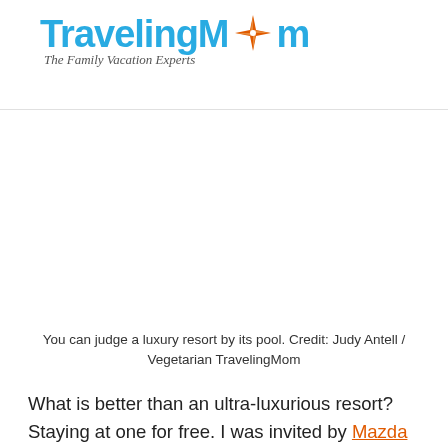TravelingMom — The Family Vacation Experts
[Figure (photo): A luxury resort pool area — image placeholder (white space)]
You can judge a luxury resort by its pool. Credit: Judy Antell / Vegetarian TravelingMom
What is better than an ultra-luxurious resort? Staying at one for free. I was invited by Mazda to test drive the new Mazda Miata and CX-5, and had time over two and a half days to get the most out...